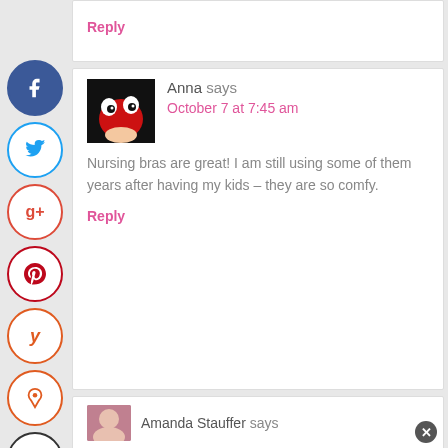Reply
Anna says
October 7 at 7:45 am
Nursing bras are great! I am still using some of them years after having my kids – they are so comfy.
Reply
Amanda Stauffer says